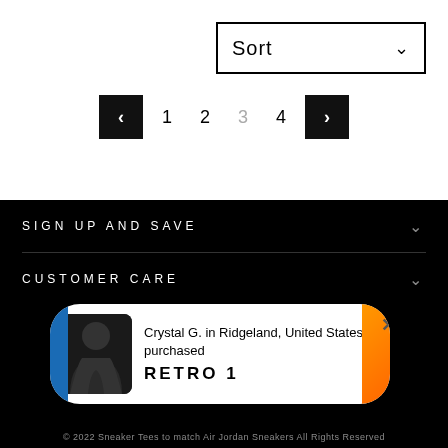[Figure (screenshot): Sort dropdown selector with chevron arrow on right side]
[Figure (screenshot): Pagination controls with left arrow, pages 1 2 3 4, right arrow. Page 3 is highlighted/active.]
SIGN UP AND SAVE
CUSTOMER CARE
[Figure (screenshot): Notification popup showing person in black hoodie, text: Crystal G. in Ridgeland, United States purchased RETRO 1]
© 2022 Sneaker Tees to match Air Jordan Sneakers All Rights Reserved